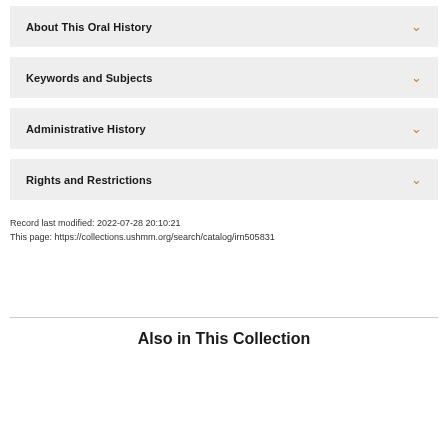About This Oral History
Keywords and Subjects
Administrative History
Rights and Restrictions
Record last modified: 2022-07-28 20:10:21
This page: https://collections.ushmm.org/search/catalog/irn505831
Also in This Collection